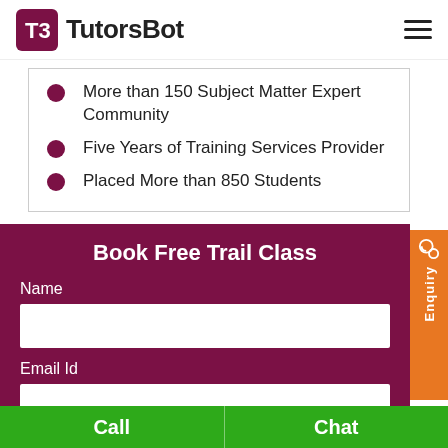[Figure (logo): TutorsBot logo with maroon icon and bold text]
More than 150 Subject Matter Expert Community
Five Years of Training Services Provider
Placed More than 850 Students
Book Free Trail Class
Name
Email Id
Enquiry
Call
Chat